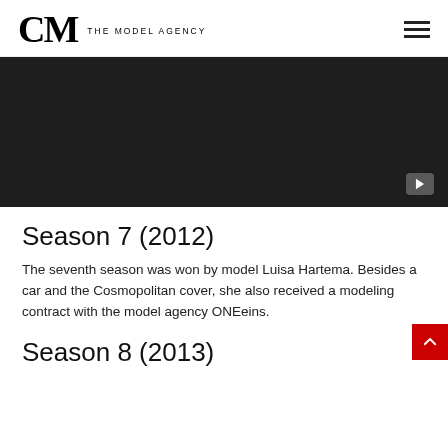CM THE MODEL AGENCY
[Figure (screenshot): Dark/black video thumbnail with YouTube play button in bottom right corner]
Season 7 (2012)
The seventh season was won by model Luisa Hartema. Besides a car and the Cosmopolitan cover, she also received a modeling contract with the model agency ONEeins.
Season 8 (2013)